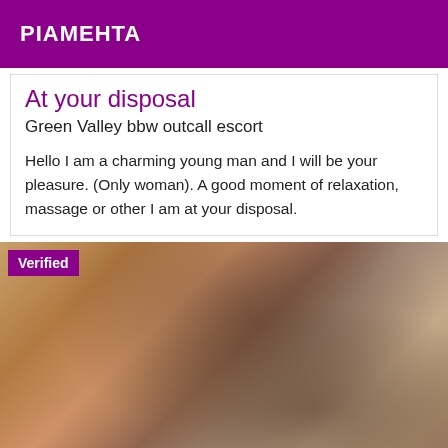PIAMEHTA
At your disposal
Green Valley bbw outcall escort
Hello I am a charming young man and I will be your pleasure. (Only woman). A good moment of relaxation, massage or other I am at your disposal.
[Figure (photo): Blurred photo of a person with dark hair, wearing dark clothing, with a 'Verified' badge overlay in the top-left corner.]